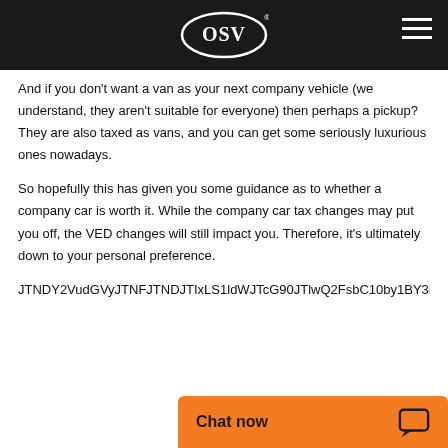OSV
And if you don't want a van as your next company vehicle (we understand, they aren't suitable for everyone) then perhaps a pickup? They are also taxed as vans, and you can get some seriously luxurious ones nowadays.
So hopefully this has given you some guidance as to whether a company car is worth it. While the company car tax changes may put you off, the VED changes will still impact you. Therefore, it's ultimately down to your personal preference.
JTNDY2VudGVyJTNFJTNDJTIxLS1ldWJTcG90JTlwQ2FsbC10by1BY3Rpb24lMjBDb2RlMlJJTlwLS0lM0UlMEUlMEFuZGFuJTIwY2hc3MlM0QlMjJocy1idXR0b24tY2xhc3MiJTNFJTI1JTNFY0hCbGNpUyMiUyMGlVyMGlkJTNFJTI1JTNFJTNFJTNEJTNFJTNEJTNEJTNEJTNEJTNEJTNEJTNEJTNE